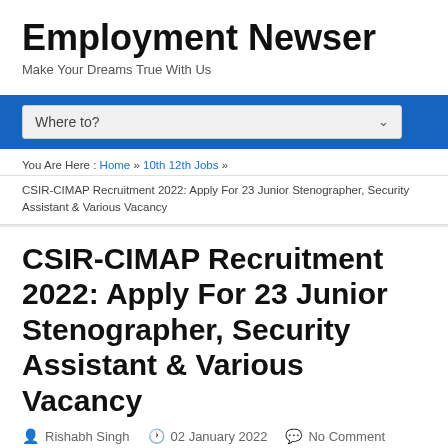Employment Newser
Make Your Dreams True With Us
Where to?
You Are Here : Home » 10th 12th Jobs »
CSIR-CIMAP Recruitment 2022: Apply For 23 Junior Stenographer, Security Assistant & Various Vacancy
CSIR-CIMAP Recruitment 2022: Apply For 23 Junior Stenographer, Security Assistant & Various Vacancy
Rishabh Singh  02 January 2022  No Comment